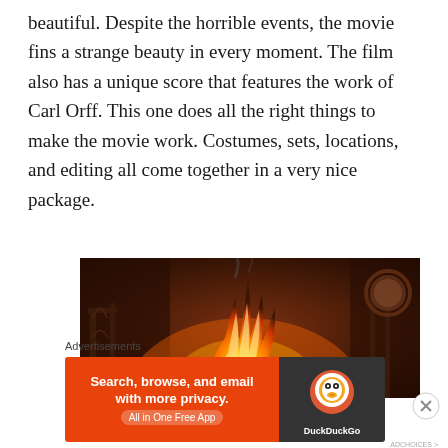beautiful. Despite the horrible events, the movie fins a strange beauty in every moment. The film also has a unique score that features the work of Carl Orff. This one does all the right things to make the movie work. Costumes, sets, locations, and editing all come together in a very nice package.
[Figure (photo): A dramatic scene showing a large fire/flame engulfing what appears to be a bedroom with an iron bed frame and a round mirror, in warm orange tones.]
Advertisements
[Figure (other): DuckDuckGo advertisement banner: 'Search, browse, and email with more privacy. All in One Free App' on an orange background with DuckDuckGo logo on dark background.]